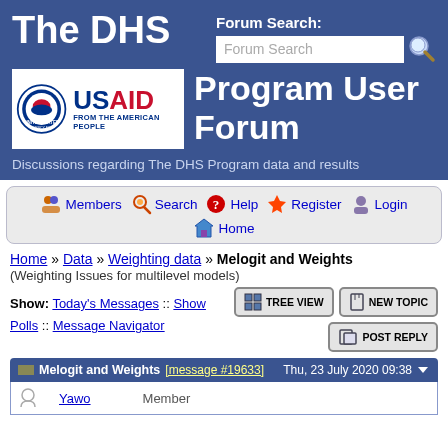The DHS Program User Forum
Forum Search:
Discussions regarding The DHS Program data and results
[Figure (logo): USAID logo with seal and 'FROM THE AMERICAN PEOPLE' text]
Members  Search  Help  Register  Login  Home
Home » Data » Weighting data » Melogit and Weights
(Weighting Issues for multilevel models)
Show: Today's Messages :: Show Polls :: Message Navigator
TREE VIEW   NEW TOPIC   POST REPLY
Melogit and Weights [message #19633]   Thu, 23 July 2020 09:38
Yawo   Member